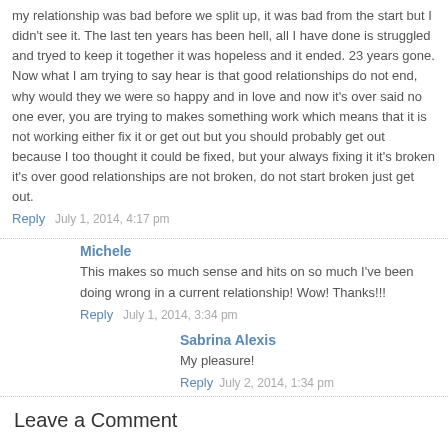my relationship was bad before we split up, it was bad from the start but I didn't see it. The last ten years has been hell, all I have done is struggled and tryed to keep it together it was hopeless and it ended. 23 years gone. Now what I am trying to say hear is that good relationships do not end, why would they we were so happy and in love and now it's over said no one ever, you are trying to makes something work which means that it is not working either fix it or get out but you should probably get out because I too thought it could be fixed, but your always fixing it it's broken it's over good relationships are not broken, do not start broken just get out.
Reply   July 1, 2014, 4:17 pm
Michele
This makes so much sense and hits on so much I've been doing wrong in a current relationship! Wow! Thanks!!!
Reply   July 1, 2014, 3:34 pm
Sabrina Alexis
My pleasure!
Reply   July 2, 2014, 1:34 pm
Leave a Comment
Name *
Email *
Comment